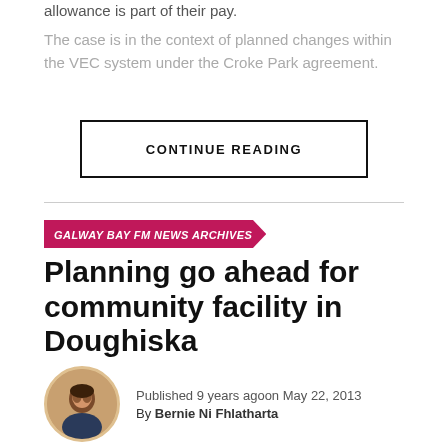allowance is part of their pay.
The case is in the context of planned changes within the VEC system under the Croke Park agreement.
CONTINUE READING
GALWAY BAY FM NEWS ARCHIVES
Planning go ahead for community facility in Doughiska
Published 9 years agoon May 22, 2013
By Bernie Ni Fhlatharta